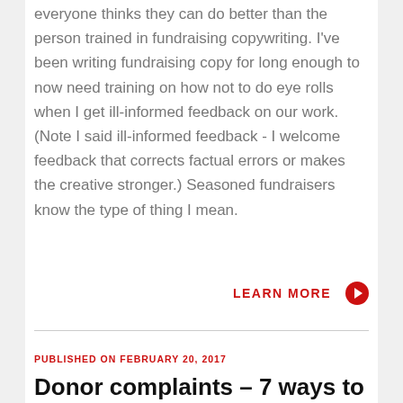everyone thinks they can do better than the person trained in fundraising copywriting. I've been writing fundraising copy for long enough to now need training on how not to do eye rolls when I get ill-informed feedback on our work. (Note I said ill-informed feedback - I welcome feedback that corrects factual errors or makes the creative stronger.) Seasoned fundraisers know the type of thing I mean.
LEARN MORE ❯
PUBLISHED ON FEBRUARY 20, 2017
Donor complaints – 7 ways to handle them